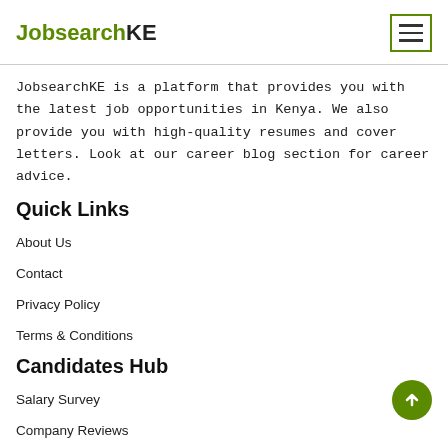JobsearchKE
JobsearchKE is a platform that provides you with the latest job opportunities in Kenya. We also provide you with high-quality resumes and cover letters. Look at our career blog section for career advice.
Quick Links
About Us
Contact
Privacy Policy
Terms & Conditions
Candidates Hub
Salary Survey
Company Reviews